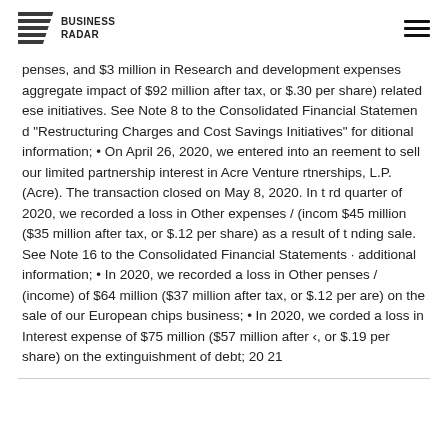BUSINESS RADAR
penses, and $3 million in Research and development expenses aggregate impact of $92 million after tax, or $.30 per share) related ese initiatives. See Note 8 to the Consolidated Financial Statements and "Restructuring Charges and Cost Savings Initiatives" for additional information; • On April 26, 2020, we entered into an agreement to sell our limited partnership interest in Acre Venture Partnerships, L.P. (Acre). The transaction closed on May 8, 2020. In the 3rd quarter of 2020, we recorded a loss in Other expenses / (income) of $45 million ($35 million after tax, or $.12 per share) as a result of the pending sale. See Note 16 to the Consolidated Financial Statements for additional information; • In 2020, we recorded a loss in Other expenses / (income) of $64 million ($37 million after tax, or $.12 per share) on the sale of our European chips business; • In 2020, we recorded a loss in Interest expense of $75 million ($57 million after tax, or $.19 per share) on the extinguishment of debt; 20 21